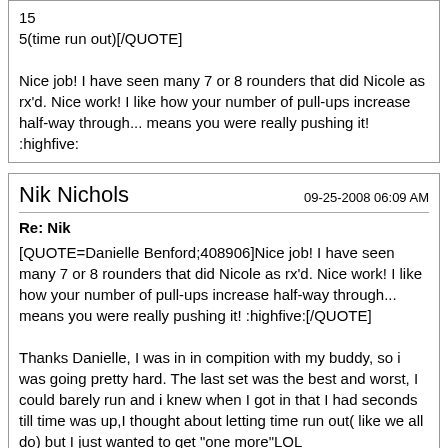15
5(time run out)[/QUOTE]

Nice job! I have seen many 7 or 8 rounders that did Nicole as rx'd. Nice work! I like how your number of pull-ups increase half-way through... means you were really pushing it! :highfive:
Nik Nichols
09-25-2008 06:09 AM
Re: Nik
[QUOTE=Danielle Benford;408906]Nice job! I have seen many 7 or 8 rounders that did Nicole as rx'd. Nice work! I like how your number of pull-ups increase half-way through... means you were really pushing it! :highfive:[/QUOTE]

Thanks Danielle, I was in in compition with my buddy, so i was going pretty hard. The last set was the best and worst, I could barely run and i knew when I got in that I had seconds till time was up,I thought about letting time run out( like we all do) but I just wanted to get "one more"LOL
Carla Tremblay
09-25-2008 08:58 AM
Re: Nik
[QUOTE=Nik Nichols;408353]GI WI I 45 weighted with 25lbs